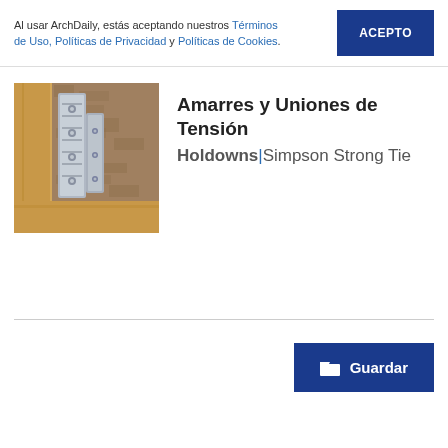Al usar ArchDaily, estás aceptando nuestros Términos de Uso, Políticas de Privacidad y Políticas de Cookies.
ACEPTO
[Figure (photo): Photograph of metal holdown hardware (Simpson Strong-Tie) mounted between wooden framing members, showing a metal strap and anchor bolt connector.]
Amarres y Uniones de Tensión Holdowns|Simpson Strong Tie
Guardar